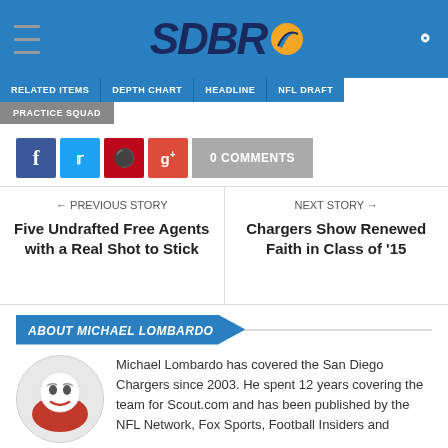SDBR
RELATED ITEMS
DEPTH CHART
HEADLINE
NFL DRAFT
PRACTICE SQUAD
0 COMMENTS
← PREVIOUS STORY
Five Undrafted Free Agents with a Real Shot to Stick
NEXT STORY →
Chargers Show Renewed Faith in Class of '15
ABOUT MICHAEL LOMBARDO
Michael Lombardo has covered the San Diego Chargers since 2003. He spent 12 years covering the team for Scout.com and has been published by the NFL Network, Fox Sports, Football Insiders and